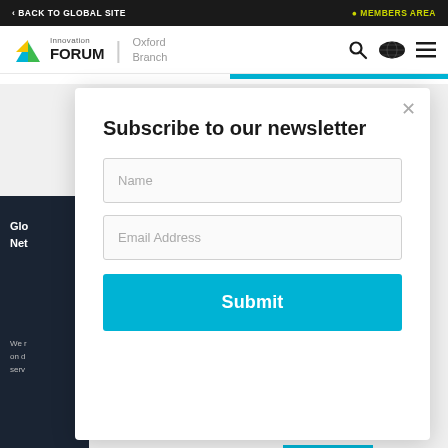< BACK TO GLOBAL SITE | MEMBERS AREA
[Figure (logo): Innovation Forum Oxford Branch logo with green triangle icon]
Subscribe to our newsletter
Name
Email Address
Submit
Glo
Net
We
on d
serv